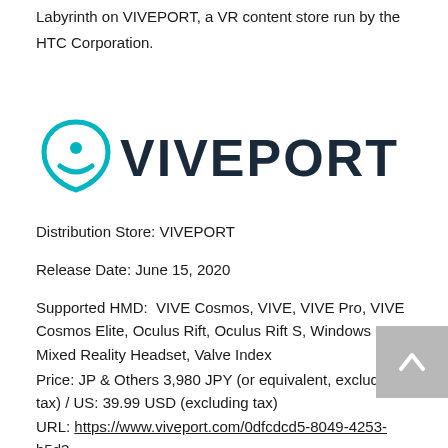Labyrinth on VIVEPORT, a VR content store run by the HTC Corporation.
[Figure (logo): VIVEPORT logo — teal HTC teardrop/shield icon followed by VIVEPORT text in dark navy bold letters]
Distribution Store: VIVEPORT
Release Date: June 15, 2020
Supported HMD:  VIVE Cosmos, VIVE, VIVE Pro, VIVE Cosmos Elite, Oculus Rift, Oculus Rift S, Windows Mixed Reality Headset, Valve Index
Price: JP & Others 3,980 JPY (or equivalent, excluding tax) / US: 39.99 USD (excluding tax)
URL: https://www.viveport.com/0dfcdcd5-8049-4253-b5d3-e838aa8f002c